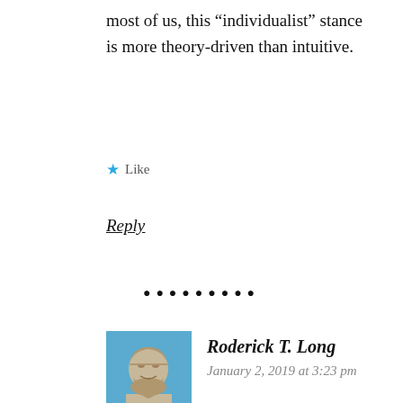most of us, this “individualist” stance is more theory-driven than intuitive.
★ Like
Reply
●●●●●●●●●
[Figure (photo): Avatar image of a stone/marble bust of a bearded man with curly hair, styled in classical Greek or Roman style, on a blue background]
Roderick T. Long
January 2, 2019 at 3:23 pm
“One implicit assumption in Estlund’s argument is that, prior to the system of